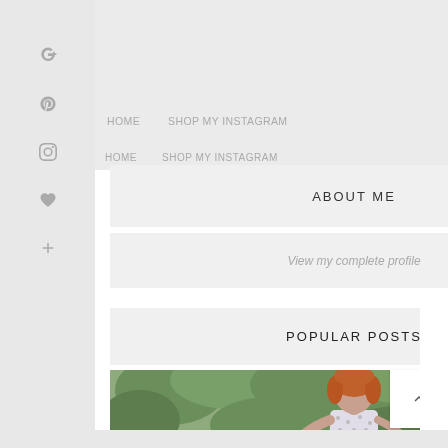HOME   SHOP MY INSTAGRAM
ABOUT ME
View my complete profile
POPULAR POSTS
[Figure (photo): Young woman with red/auburn bob haircut wearing a patterned dress with choker necklace, standing in front of green foliage]